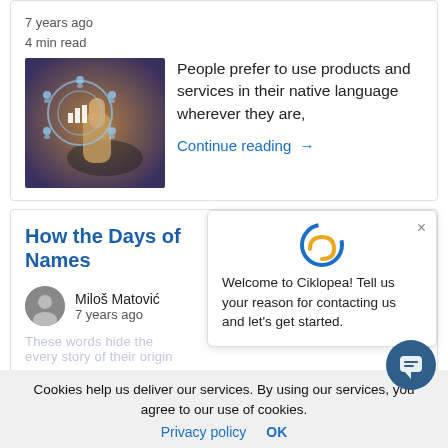7 years ago
4 min read
[Figure (photo): Person touching a digital network/data interface with bar chart and person icons]
People prefer to use products and services in their native language wherever they are,
Continue reading →
How the Days of Names
[Figure (photo): Author avatar — Miloš Matović]
Miloš Matović
7 years ago
Welcome to Ciklopea! Tell us your reason for contacting us and let's get started.
Cookies help us deliver our services. By using our services, you agree to our use of cookies.
Privacy policy   OK